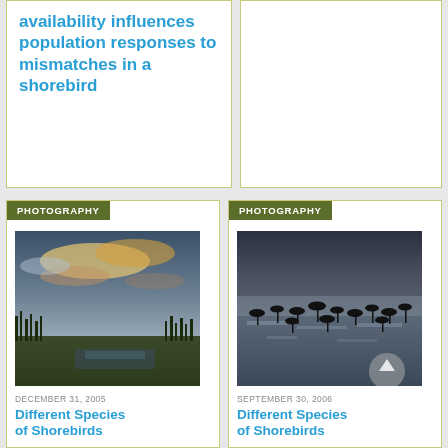availability influences population responses to mismatches in a shorebird
[Figure (photo): Empty white card placeholder on right side of top row]
PHOTOGRAPHY
[Figure (photo): Wetland landscape at dusk/dawn with dramatic cloudy sky and marsh vegetation]
DECEMBER 31, 2005
Different Species of Shorebirds
PHOTOGRAPHY
[Figure (photo): Silhouettes of shorebirds wading in shallow water with light reflecting on surface]
SEPTEMBER 30, 2006
Different Species of Shorebirds